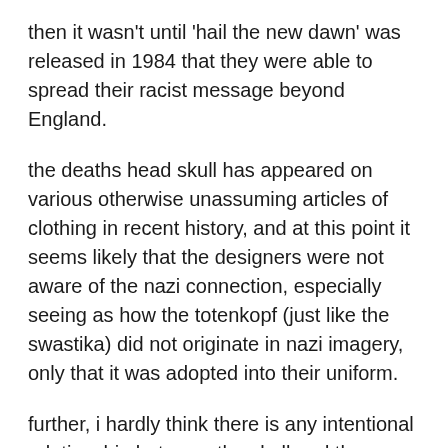then it wasn't until 'hail the new dawn' was released in 1984 that they were able to spread their racist message beyond England.
the deaths head skull has appeared on various otherwise unassuming articles of clothing in recent history, and at this point it seems likely that the designers were not aware of the nazi connection, especially seeing as how the totenkopf (just like the swastika) did not originate in nazi imagery, only that it was adopted into their uniform.
further, i hardly think there is any intentional relationship between the skull and the “since 1978” t. the shirt’s designer likely combined unrelated images